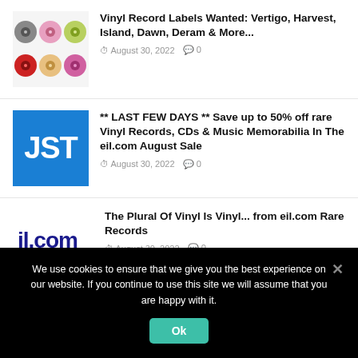Vinyl Record Labels Wanted: Vertigo, Harvest, Island, Dawn, Deram & More... | August 30, 2022 | 0 comments
** LAST FEW DAYS ** Save up to 50% off rare Vinyl Records, CDs & Music Memorabilia In The eil.com August Sale | August 30, 2022 | 0 comments
The Plural Of Vinyl Is Vinyl... from eil.com Rare Records | August 30, 2022 | 0 comments
We use cookies to ensure that we give you the best experience on our website. If you continue to use this site we will assume that you are happy with it.